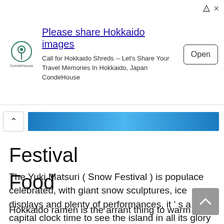[Figure (screenshot): Advertisement banner for CondeHouse app: logo with circular location icon, title 'Please share Hokkaido images', description 'Call for Hokkaido Shreds -- Let's Share Your Travel Memories In Hokkaido, Japan CondeHouse', Open button, and ad icons top right.]
[Figure (screenshot): Navigation bar with chevron up icon on left and blue gradient bar on right.]
Festival
The Yuki Matsuri ( Snow Festival ) is populace celebrated, with giant snow sculptures, ice displays and plenty of performances, it ’ s a capital clock time to see the island in all its glory .
Food
Hokkaido ramen is the arrant thing to warm